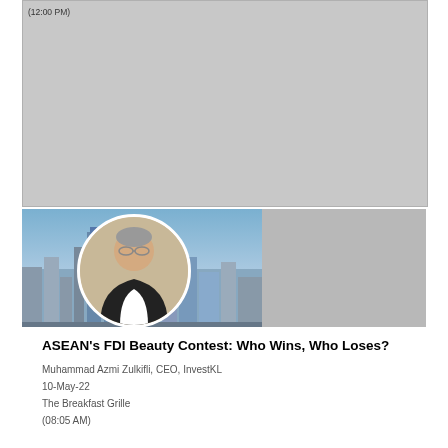[Figure (photo): Large grey placeholder image area at the top of the page, partially visible, with a small label text '(12:00 PM)' at the top left corner.]
[Figure (photo): A photo of a businessman (Muhammad Azmi Zulkifli, CEO of InvestKL) in a circular portrait overlay on a Kuala Lumpur city skyline background featuring tall skyscrapers.]
ASEAN's FDI Beauty Contest: Who Wins, Who Loses?
Muhammad Azmi Zulkifli, CEO, InvestKL
10-May-22
The Breakfast Grille
(08:05 AM)